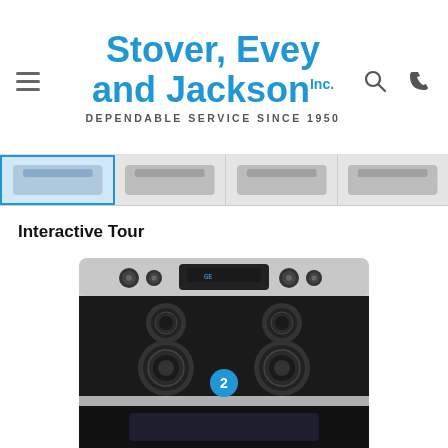Stover, Evey and Jackson INC. — DEPENDABLE SERVICE SINCE 1950
[Figure (screenshot): Thumbnail navigation bar with 4 product image thumbnails; first thumbnail is highlighted with a blue border]
Interactive Tour
[Figure (photo): Electric range/stove in stainless steel with coil burners and black cooktop surface, featuring a digital control panel and knobs; a blue circle with number 2 is overlaid on the cooktop area as an interactive tour marker]